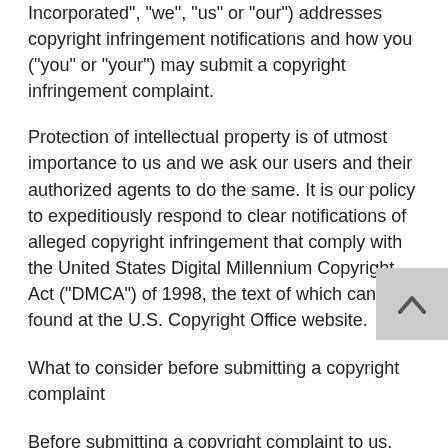Incorporated", "we", "us" or "our") addresses copyright infringement notifications and how you ("you" or "your") may submit a copyright infringement complaint.
Protection of intellectual property is of utmost importance to us and we ask our users and their authorized agents to do the same. It is our policy to expeditiously respond to clear notifications of alleged copyright infringement that comply with the United States Digital Millennium Copyright Act ("DMCA") of 1998, the text of which can be found at the U.S. Copyright Office website.
What to consider before submitting a copyright complaint
Before submitting a copyright complaint to us, consider whether the use could be considered fair use. Fair use states that brief excerpts of copyrighted material may, under certain circumstances, be quoted verbatim for purposes such as criticism, news reporting, teaching, and research